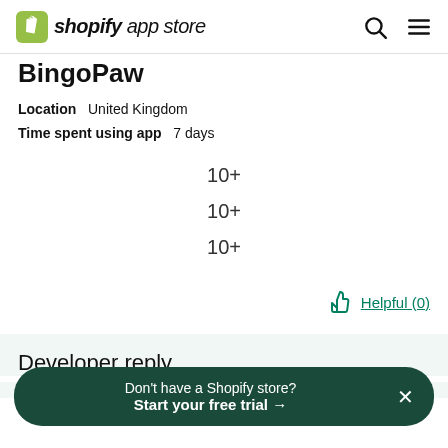shopify app store
BingoPaw
Location   United Kingdom
Time spent using app   7 days
10+
10+
10+
Helpful (0)
Developer reply
Thank you for your kind words. We value your
Don't have a Shopify store?
Start your free trial →